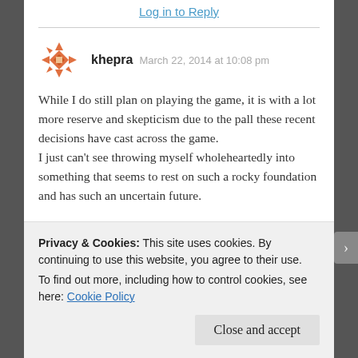Log in to Reply
khepra  March 22, 2014 at 10:08 pm
While I do still plan on playing the game, it is with a lot more reserve and skepticism due to the pall these recent decisions have cast across the game.
I just can't see throwing myself wholeheartedly into something that seems to rest on such a rocky foundation and has such an uncertain future.
Privacy & Cookies: This site uses cookies. By continuing to use this website, you agree to their use.
To find out more, including how to control cookies, see here: Cookie Policy